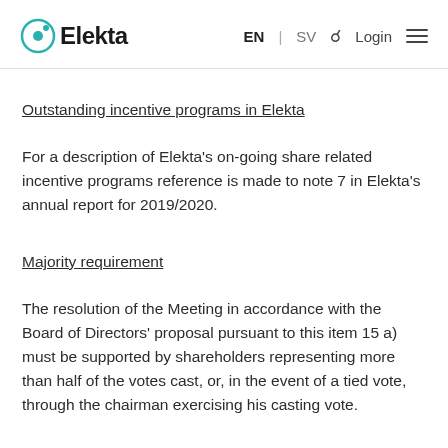Elekta | EN | SV | Login
Outstanding incentive programs in Elekta
For a description of Elekta's on-going share related incentive programs reference is made to note 7 in Elekta's annual report for 2019/2020.
Majority requirement
The resolution of the Meeting in accordance with the Board of Directors' proposal pursuant to this item 15 a)  must be supported by shareholders representing more than half of the votes cast, or, in the event of a tied vote, through the chairman exercising his casting vote.